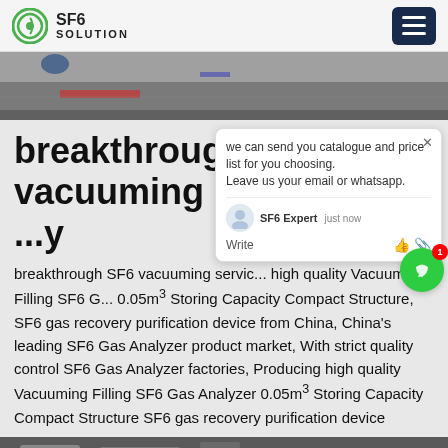SF6 SOLUTION
[Figure (photo): Outdoor street/pavement scene viewed from above, showing road markings and a vehicle, used as hero banner image.]
breakthrough SF6 vacuuming service ...y
breakthrough SF6 vacuuming service ... high quality Vacuuming Filling SF6 G... 0.05m³ Storing Capacity Compact Structure, SF6 gas recovery purification device from China, China's leading SF6 Gas Analyzer product market, With strict quality control SF6 Gas Analyzer factories, Producing high quality Vacuuming Filling SF6 Gas Analyzer 0.05m³ Storing Capacity Compact Structure SF6 gas recovery purification device
[Figure (screenshot): Chat popup overlay: 'we can send you catalogue and price list for you choosing. Leave us your email or whatsapp.' with SF6 Expert agent avatar and Write input area.]
[Figure (photo): Bottom strip showing partial image of SF6 equipment or industrial scene.]